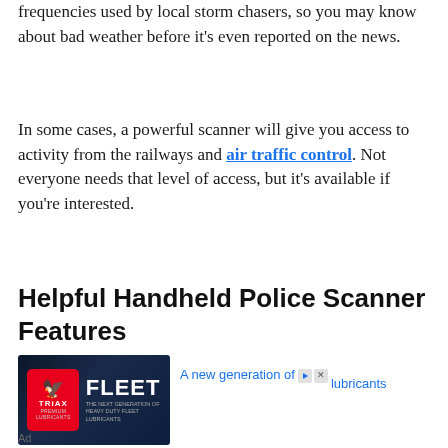frequencies used by local storm chasers, so you may know about bad weather before it's even reported on the news.
In some cases, a powerful scanner will give you access to activity from the railways and air traffic control. Not everyone needs that level of access, but it's available if you're interested.
Helpful Handheld Police Scanner Features
[Figure (other): Advertisement banner for TRIAX FLEET lubricants showing a dark blue background with the TRIAX logo in a red box with a bird emblem and the word FLEET in large white letters]
A new generation of lubricants
Ad